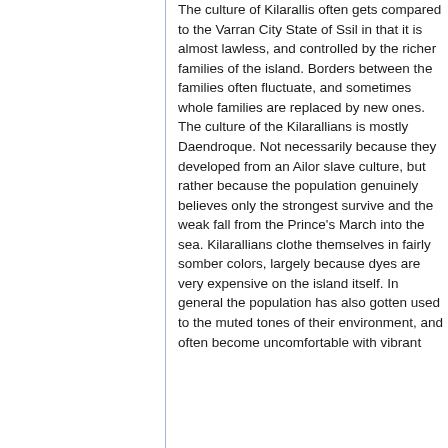The culture of Kilarallis often gets compared to the Varran City State of Ssil in that it is almost lawless, and controlled by the richer families of the island. Borders between the families often fluctuate, and sometimes whole families are replaced by new ones. The culture of the Kilarallians is mostly Daendroque. Not necessarily because they developed from an Ailor slave culture, but rather because the population genuinely believes only the strongest survive and the weak fall from the Prince's March into the sea. Kilarallians clothe themselves in fairly somber colors, largely because dyes are very expensive on the island itself. In general the population has also gotten used to the muted tones of their environment, and often become uncomfortable with vibrant